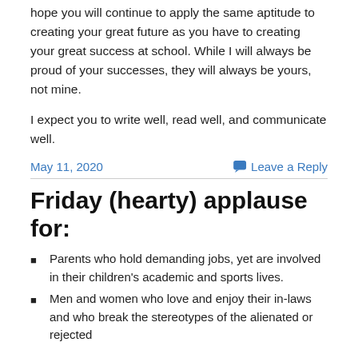hope you will continue to apply the same aptitude to creating your great future as you have to creating your great success at school. While I will always be proud of your successes, they will always be yours,  not mine.

I expect you to write well, read well, and communicate well.
May 11, 2020
Leave a Reply
Friday (hearty) applause for:
Parents who hold demanding jobs, yet are involved in their children's academic and sports lives.
Men and women who love and enjoy their in-laws and who break the stereotypes of the alienated or rejected